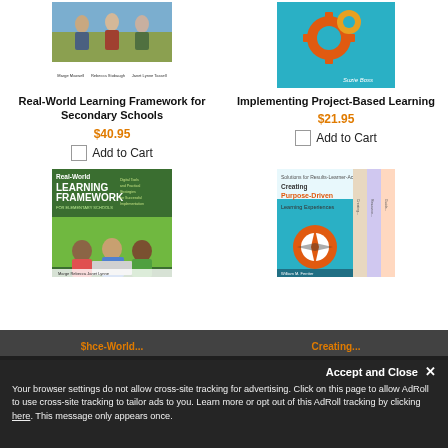[Figure (photo): Book cover: Real-World Learning Framework for Secondary Schools with photo of students outdoors]
Real-World Learning Framework for Secondary Schools
$40.95
Add to Cart
[Figure (illustration): Book cover: Implementing Project-Based Learning with teal background and gear icons, author Suzie Boss]
Implementing Project-Based Learning
$21.95
Add to Cart
[Figure (photo): Book cover: Real-World Learning Framework for Elementary Schools]
[Figure (photo): Book cover: Creating Purpose-Driven Learning Experiences]
Your browser settings do not allow cross-site tracking for advertising. Click on this page to allow AdRoll to use cross-site tracking to tailor ads to you. Learn more or opt out of this AdRoll tracking by clicking here. This message only appears once.